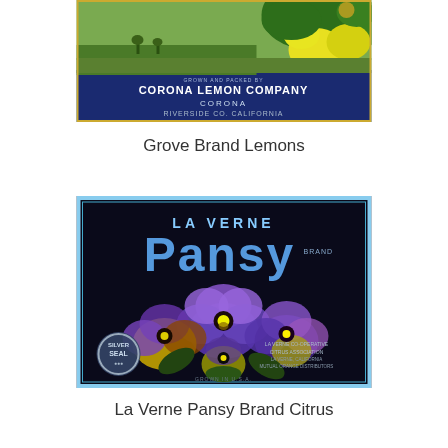[Figure (illustration): Vintage citrus crate label for Grove Brand Lemons by Corona Lemon Company, Corona, Riverside Co. California. Shows lemons on tree branches with a grove landscape in background, dark blue banner with company text.]
Grove Brand Lemons
[Figure (illustration): Vintage citrus crate label for La Verne Pansy Brand Citrus by La Verne Co-Operative Citrus Association, La Verne California, Mutual Orange Distributors. Dark background with large colorful pansy flowers in purple, yellow, and white. Silver Seal badge at lower left. Large blue text reading LA VERNE and Pansy BRAND.]
La Verne Pansy Brand Citrus